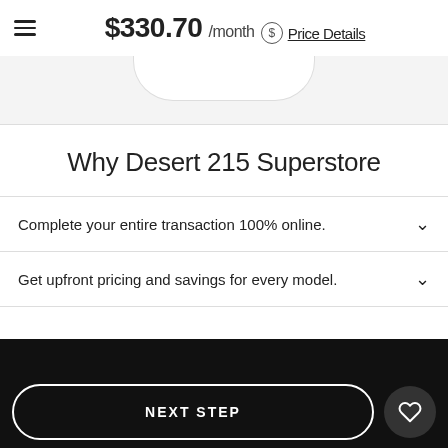$330.70 /month Price Details
Why Desert 215 Superstore
Complete your entire transaction 100% online.
Get upfront pricing and savings for every model.
Express Car Buying
Desert 215 Superstore
NEXT STEP